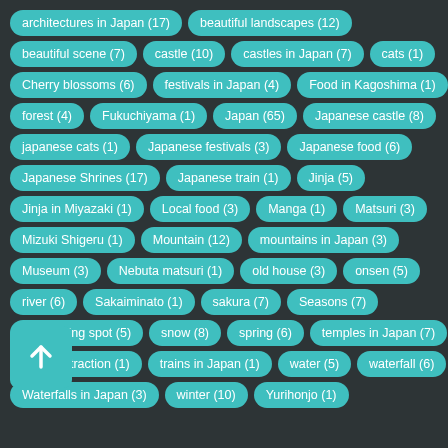[Figure (infographic): Tag cloud of Japan travel/photography categories with counts, displayed as teal rounded pill buttons on dark background. Tags include: architectures in Japan (17), beautiful landscapes (12), beautiful scene (7), castle (10), castles in Japan (7), cats (1), Cherry blossoms (6), festivals in Japan (4), Food in Kagoshima (1), forest (4), Fukuchiyama (1), Japan (65), Japanese castle (8), japanese cats (1), Japanese festivals (3), Japanese food (6), Japanese Shrines (17), Japanese train (1), Jinja (5), Jinja in Miyazaki (1), Local food (3), Manga (1), Matsuri (3), Mizuki Shigeru (1), Mountain (12), mountains in Japan (3), Museum (3), Nebuta matsuri (1), old house (3), onsen (5), river (6), Sakaiminato (1), sakura (7), Seasons (7), sightseeing spot (5), snow (8), spring (6), temples in Japan (7), tourist attraction (1), trains in Japan (1), water (5), waterfall (6), Waterfalls in Japan (3), winter (10), Yurihonjo (1)]